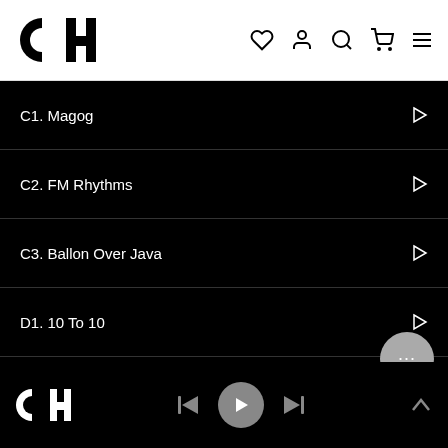[Figure (screenshot): Navigation bar with CH logo and icons for heart, user, search, cart, and hamburger menu]
C1. Magog
C2. FM Rhythms
C3. Ballon Over Java
D1. 10 To 10
D2. Künstlicher Ausklang
CH logo · skip back · play · skip forward · chevron up